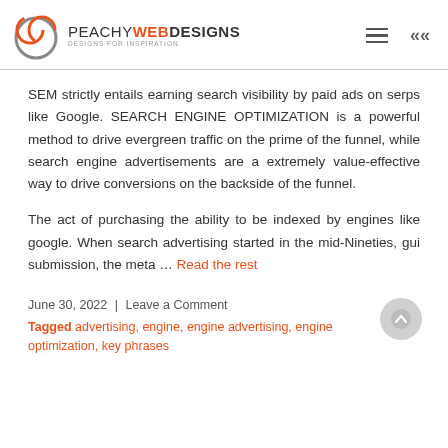PEACHY WEB DESIGNS — DESIGNS FOR INSPIRATION
SEM strictly entails earning search visibility by paid ads on serps like Google. SEARCH ENGINE OPTIMIZATION is a powerful method to drive evergreen traffic on the prime of the funnel, while search engine advertisements are a extremely value-effective way to drive conversions on the backside of the funnel.
The act of purchasing the ability to be indexed by engines like google. When search advertising started in the mid-Nineties, gui submission, the meta … Read the rest
June 30, 2022 | Leave a Comment
Tagged advertising, engine, engine advertising, engine optimization, key phrases